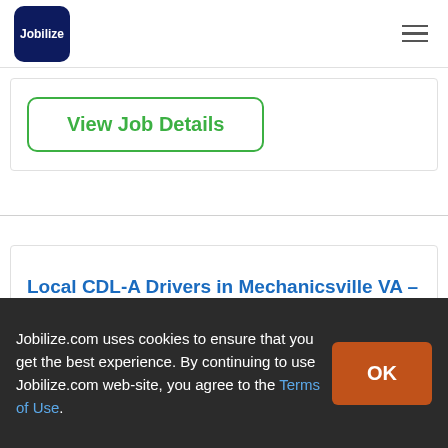Jobilize
View Job Details
Local CDL-A Drivers in Mechanicsville VA - Earn 68 CPM
Jobilize.com uses cookies to ensure that you get the best experience. By continuing to use Jobilize.com web-site, you agree to the Terms of Use.